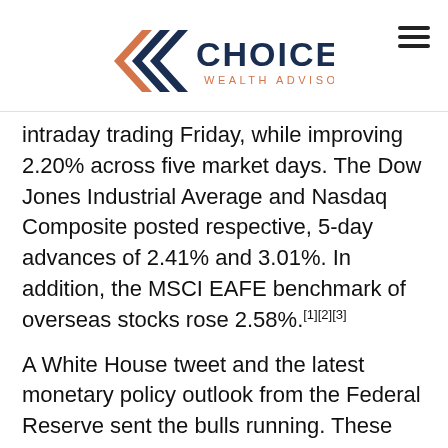Choice Wealth Advisors
intraday trading Friday, while improving 2.20% across five market days. The Dow Jones Industrial Average and Nasdaq Composite posted respective, 5-day advances of 2.41% and 3.01%. In addition, the MSCI EAFE benchmark of overseas stocks rose 2.58%.[1][2][3]
A White House tweet and the latest monetary policy outlook from the Federal Reserve sent the bulls running. These were the top two financial news items in an eventful week - a week in which the value of West Texas Intermediate crude rose 9.4%, the price of gold went above $1,400 for the first time in six years,